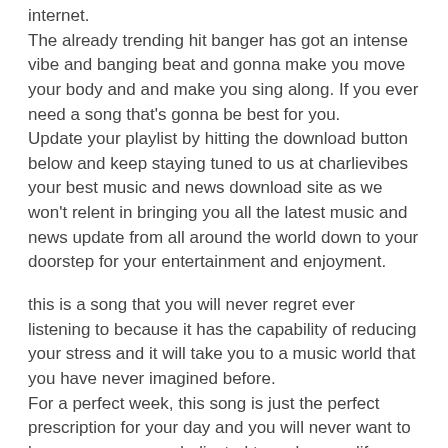internet.
The already trending hit banger has got an intense vibe and banging beat and gonna make you move your body and and make you sing along. If you ever need a song that's gonna be best for you.
Update your playlist by hitting the download button below and keep staying tuned to us at charlievibes your best music and news download site as we won't relent in bringing you all the latest music and news update from all around the world down to your doorstep for your entertainment and enjoyment.
this is a song that you will never regret ever listening to because it has the capability of reducing your stress and it will take you to a music world that you have never imagined before.
For a perfect week, this song is just the perfect prescription for your day and you will never want to leave us as we are dedicated to make your life an unimaginably exceptional world where nothing else matters except music.